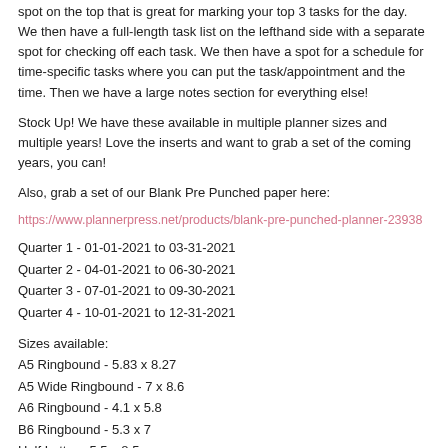spot on the top that is great for marking your top 3 tasks for the day. We then have a full-length task list on the lefthand side with a separate spot for checking off each task. We then have a spot for a schedule for time-specific tasks where you can put the task/appointment and the time. Then we have a large notes section for everything else!
Stock Up! We have these available in multiple planner sizes and multiple years! Love the inserts and want to grab a set of the coming years, you can!
Also, grab a set of our Blank Pre Punched paper here:
https://www.plannerpress.net/products/blank-pre-punched-planner-23938
Quarter 1 - 01-01-2021 to 03-31-2021
Quarter 2 - 04-01-2021 to 06-30-2021
Quarter 3 - 07-01-2021 to 09-30-2021
Quarter 4 - 10-01-2021 to 12-31-2021
Sizes available:
A5 Ringbound - 5.83 x 8.27
A5 Wide Ringbound - 7 x 8.6
A6 Ringbound - 4.1 x 5.8
B6 Ringbound - 5.3 x 7
Half Letter - 5.5 x 8.5